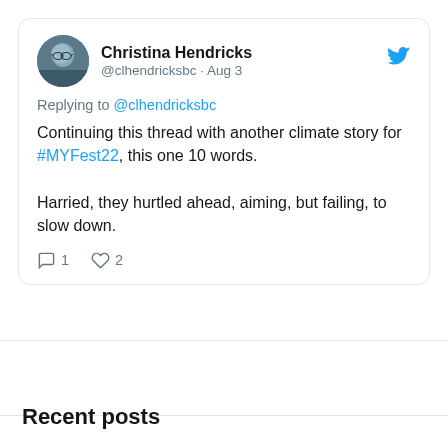[Figure (screenshot): Tweet card from Christina Hendricks (@clhendricksbc, Aug 3) replying to @clhendricksbc. Text: 'Continuing this thread with another climate story for #MYFest22, this one 10 words. Harried, they hurtled ahead, aiming, but failing, to slow down.' Reply count: 1, Like count: 2. Twitter bird icon shown.]
Recent posts